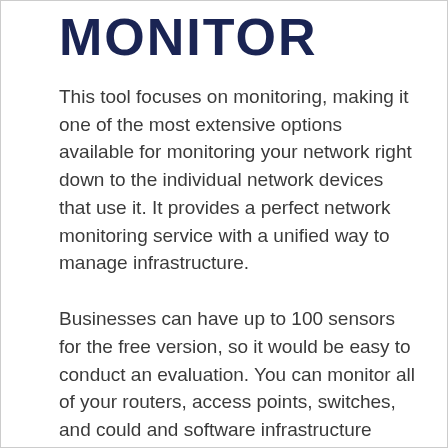MONITOR
This tool focuses on monitoring, making it one of the most extensive options available for monitoring your network right down to the individual network devices that use it. It provides a perfect network monitoring service with a unified way to manage infrastructure.
Businesses can have up to 100 sensors for the free version, so it would be easy to conduct an evaluation. You can monitor all of your routers, access points, switches, and could and software infrastructure easily.
This includes services, storage, servers, and